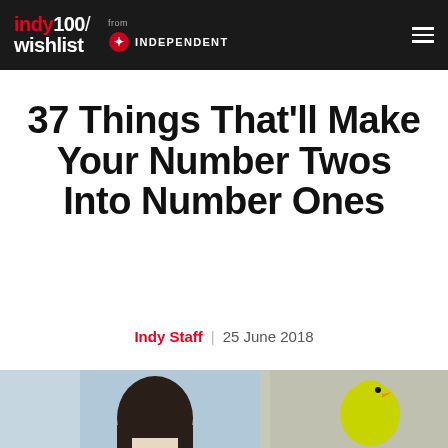indy100/wishlist from INDEPENDENT
37 Things That'll Make Your Number Twos Into Number Ones
Indy Staff | 25 June 2018
[Figure (photo): Photo showing a person's head/hair on the left side and a yellow object (possibly a rubber duck or bathroom item) on the right side against a light background]